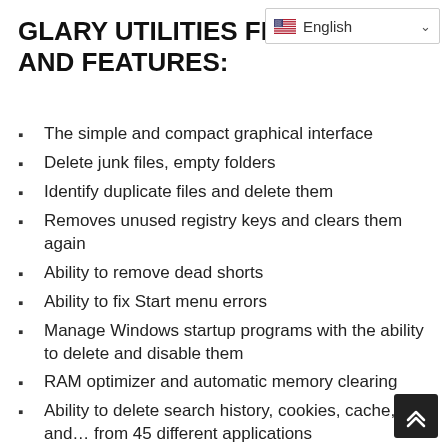GLARY UTILITIES FEATURES AND FEATURES:
The simple and compact graphical interface
Delete junk files, empty folders
Identify duplicate files and delete them
Removes unused registry keys and clears them again
Ability to remove dead shorts
Ability to fix Start menu errors
Manage Windows startup programs with the ability to delete and disable them
RAM optimizer and automatic memory clearing
Ability to delete search history, cookies, cache, and… from 45 different applications
Ability to safely delete files
Internet Explorer plugin management tool